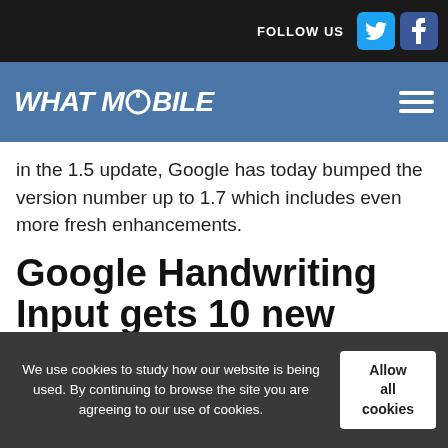FOLLOW US
WHAT MOBILE
in the 1.5 update, Google has today bumped the version number up to 1.7 which includes even more fresh enhancements.
Google Handwriting Input gets 10 new languages
There’s now support for Corsican, Hawaiian, Kazakh, Luxembourgish, Samoan, Scottish Gaelic, Shona, Tajik, Uzbek, and Western Frisian, taking the total number of supported languages to 82.
We use cookies to study how our website is being used. By continuing to browse the site you are agreeing to our use of cookies.